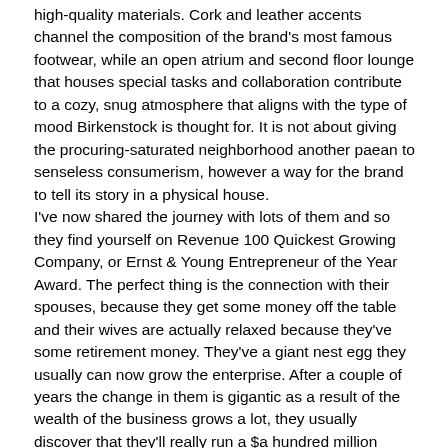high-quality materials. Cork and leather accents channel the composition of the brand's most famous footwear, while an open atrium and second floor lounge that houses special tasks and collaboration contribute to a cozy, snug atmosphere that aligns with the type of mood Birkenstock is thought for. It is not about giving the procuring-saturated neighborhood another paean to senseless consumerism, however a way for the brand to tell its story in a physical house. I've now shared the journey with lots of them and so they find yourself on Revenue 100 Quickest Growing Company, or Ernst & Young Entrepreneur of the Year Award. The perfect thing is the connection with their spouses, because they get some money off the table and their wives are actually relaxed because they've some retirement money. They've a giant nest egg they usually can now grow the enterprise. After a couple of years the change in them is gigantic as a result of the wealth of the business grows a lot, they usually discover that they'll really run a $a hundred million company as much as they could run a $30 million firm. They start to perceive methods to develop a business and which you can additionally do acquisitions and never just organic development, they usually get very surprised that they are able to go on the market and in how different companies and you can get at to turn on in them